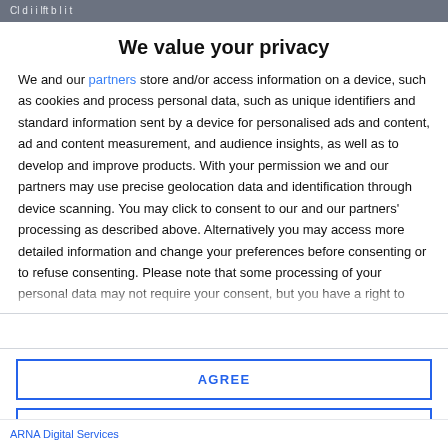Cl d i i lft b l i t
We value your privacy
We and our partners store and/or access information on a device, such as cookies and process personal data, such as unique identifiers and standard information sent by a device for personalised ads and content, ad and content measurement, and audience insights, as well as to develop and improve products. With your permission we and our partners may use precise geolocation data and identification through device scanning. You may click to consent to our and our partners' processing as described above. Alternatively you may access more detailed information and change your preferences before consenting or to refuse consenting. Please note that some processing of your personal data may not require your consent, but you have a right to
AGREE
MORE OPTIONS
ARNA Digital Services